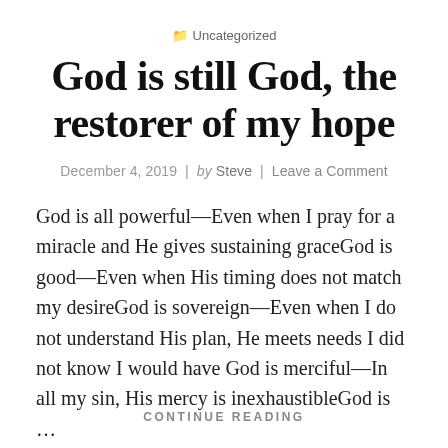📁 Uncategorized
God is still God, the restorer of my hope
December 4, 2019 | by Steve | Leave a Comment
God is all powerful—Even when I pray for a miracle and He gives sustaining graceGod is good—Even when His timing does not match my desireGod is sovereign—Even when I do not understand His plan, He meets needs I did not know I would have God is merciful—In all my sin, His mercy is inexhaustibleGod is …
CONTINUE READING